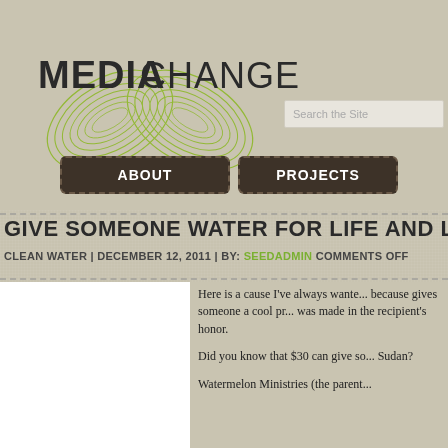[Figure (logo): MediaChange logo with green leaf/fingerprint graphic and bold text reading MEDIA CHANGE]
[Figure (screenshot): Search box with placeholder text 'Search the Site']
ABOUT | PROJECTS
GIVE SOMEONE WATER FOR LIFE AND LOO
CLEAN WATER | DECEMBER 12, 2011 | BY: SEEDADMIN COMMENTS OFF
[Figure (photo): White/blank image placeholder on left side of article]
Here is a cause I've always wante... because gives someone a cool pr... was made in the recipient's honor.
Did you know that $30 can give so... Sudan?
Watermelon Ministries (the parent...